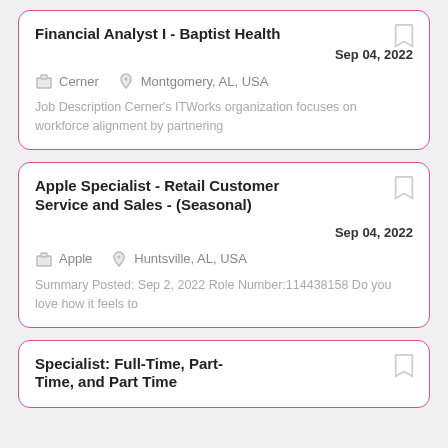Financial Analyst I - Baptist Health
Sep 04, 2022
Cerner   Montgomery, AL, USA
Job Description Cerner's ITWorks organization focuses on workforce alignment by partnering
Apple Specialist - Retail Customer Service and Sales - (Seasonal)
Sep 04, 2022
Apple   Huntsville, AL, USA
Summary Posted: Sep 2, 2022 Role Number:114438158 Do you love how it feels to
Specialist: Full-Time, Part-Time, and Part Time